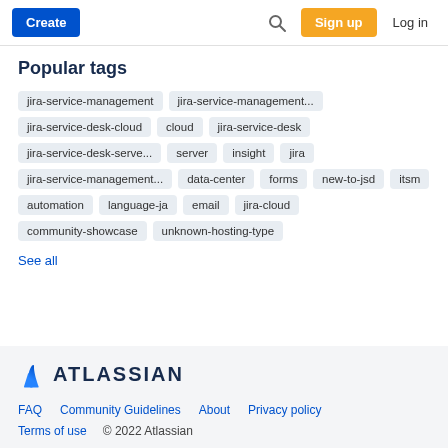Create | Search | Sign up | Log in
Popular tags
jira-service-management jira-service-management... jira-service-desk-cloud cloud jira-service-desk jira-service-desk-serve... server insight jira jira-service-management... data-center forms new-to-jsd itsm automation language-ja email jira-cloud community-showcase unknown-hosting-type
See all
[Figure (logo): Atlassian logo with triangle icon and ATLASSIAN wordmark]
FAQ   Community Guidelines   About   Privacy policy   Terms of use   © 2022 Atlassian